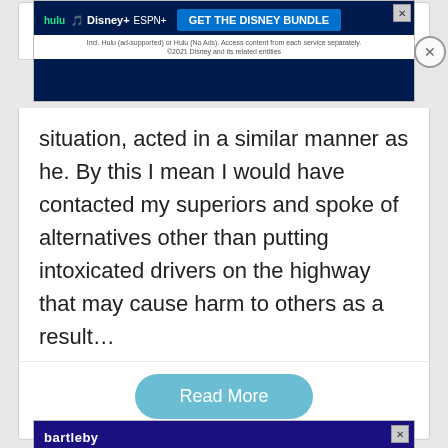[Figure (screenshot): Disney Bundle advertisement banner with Hulu, Disney+, ESPN+ logos and 'GET THE DISNEY BUNDLE' button]
correct ... of the mall pa... in this situation, acted in a similar manner as he. By this I mean I would have contacted my superiors and spoke of alternatives other than putting intoxicated drivers on the highway that may cause harm to others as a result…
Read More
[Figure (screenshot): Bartleby advertisement with tagline 'An easier way to study hard!' on dark blue background with pink text]
[Figure (screenshot): Kynix Semiconductor advertisement: 'Check Part Availability & Inventory from Kynix' with Get Quote button]